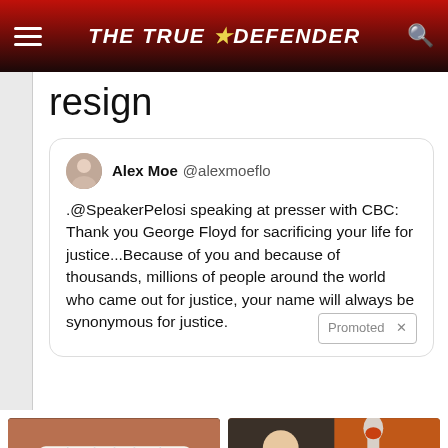THE TRUE DEFENDER
resign
Alex Moe @alexmoeflo
.@SpeakerPelosi speaking at presser with CBC: Thank you George Floyd for sacrificing your life for justice...Because of you and because of thousands, millions of people around the world who came out for justice, your name will always be synonymous for justice.
[Figure (photo): Close-up of open mouth with tongue out and a small blue pill, with a circular play button overlay]
4 Worst Blood Pressure Drugs (Avoid At All Costs)
🔥 59,522
[Figure (photo): Collage of a fit woman holding something and a close-up of a spoon with red spice powder]
Just 1 Teaspoon Burns Belly Fat Like Crazy!
🔥 108